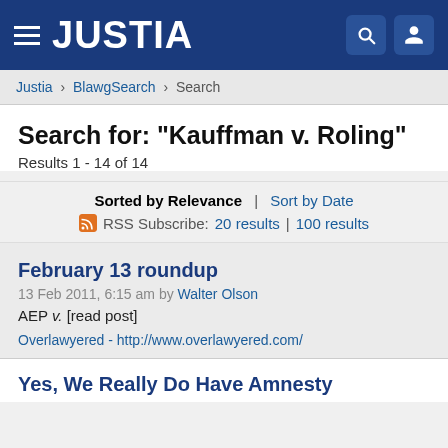JUSTIA
Justia > BlawgSearch > Search
Search for: "Kauffman v. Roling"
Results 1 - 14 of 14
Sorted by Relevance | Sort by Date
RSS Subscribe: 20 results | 100 results
February 13 roundup
13 Feb 2011, 6:15 am by Walter Olson
AEP v. [read post]
Overlawyered - http://www.overlawyered.com/
Yes, We Really Do Have Amnesty